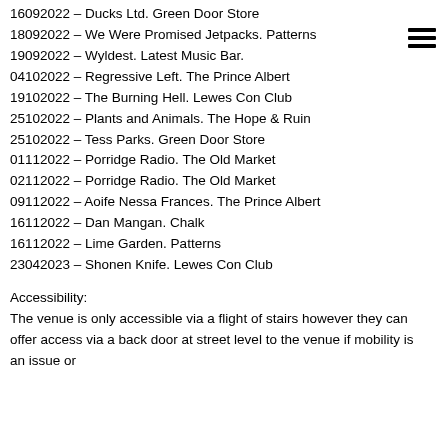16092022 – Ducks Ltd. Green Door Store
18092022 – We Were Promised Jetpacks. Patterns
19092022 – Wyldest. Latest Music Bar.
04102022 – Regressive Left. The Prince Albert
19102022 – The Burning Hell. Lewes Con Club
25102022 – Plants and Animals. The Hope & Ruin
25102022 – Tess Parks. Green Door Store
01112022 – Porridge Radio. The Old Market
02112022 – Porridge Radio. The Old Market
09112022 – Aoife Nessa Frances. The Prince Albert
16112022 – Dan Mangan. Chalk
16112022 – Lime Garden. Patterns
23042023 – Shonen Knife. Lewes Con Club
Accessibility:
The venue is only accessible via a flight of stairs however they can offer access via a back door at street level to the venue if mobility is an issue or